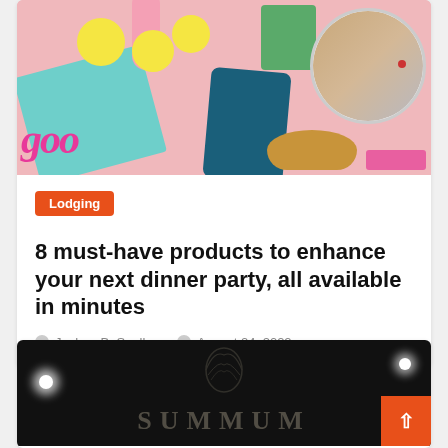[Figure (photo): Overhead flat lay photo of food products including teal shopping bag, Kettle Cooked Chips bag, lemons, pink bottle, a bowl with chicken and salad, bread, and various food items on a pink background. Pink cursive 'gooo' text visible on the left.]
Lodging
8 must-have products to enhance your next dinner party, all available in minutes
Joshua B. Speller   August 24, 2022
[Figure (photo): Dark nighttime photo of a restaurant exterior showing the word SUMMUM in large letters on a dark background, with decorative leaf motif above, and two bright spotlight lights visible. An orange button with arrow icon is in the bottom-right corner.]